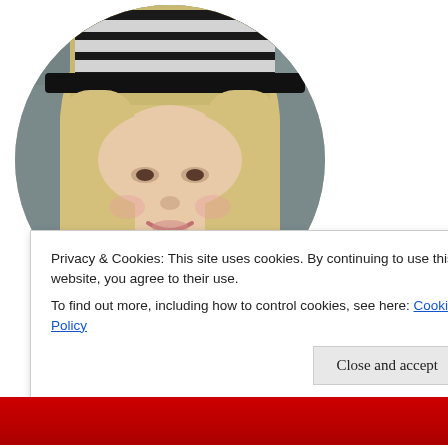[Figure (photo): Circular cropped portrait photo of a woman with long blonde hair wearing a black and white striped hat and gold chain necklace, smiling against a stone background.]
Hello, I'm Terri. Welcome to MeadowTree, my blog named for a magnificent old walnut tree in the middle of one of our pastures. I'm a retired art teacher who also knits,
Privacy & Cookies: This site uses cookies. By continuing to use this website, you agree to their use.
To find out more, including how to control cookies, see here: Cookie Policy
Close and accept